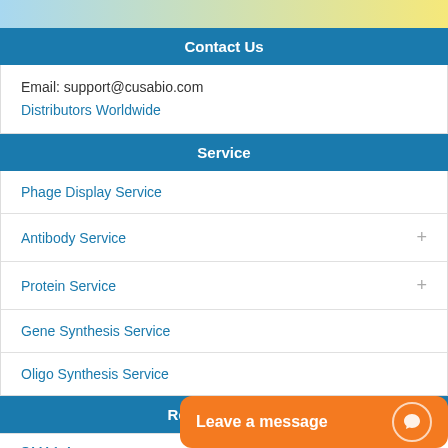[Figure (illustration): Top banner with blue-to-yellow gradient background, partial logo visible]
Contact Us
Email: support@cusabio.com
Distributors Worldwide
Service
Phage Display Service
Antibody Service
Protein Service
Gene Synthesis Service
Oligo Synthesis Service
Related Articles
OMA1-A...
Leave a message